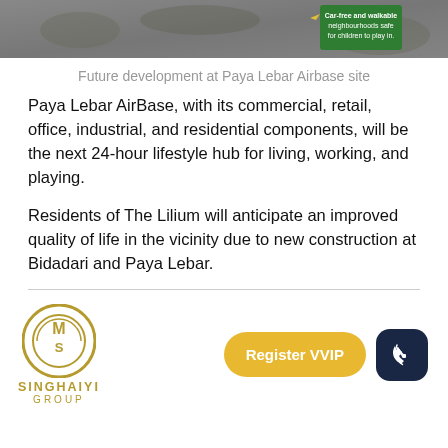[Figure (photo): Aerial satellite view of Paya Lebar Airbase site with a green sign overlay reading 'Car-free and walkable neighbourhoods safe for children to play in']
Future development at Paya Lebar Airbase site
Paya Lebar AirBase, with its commercial, retail, office, industrial, and residential components, will be the next 24-hour lifestyle hub for living, working, and playing.
Residents of The Lilium will anticipate an improved quality of life in the vicinity due to new construction at Bidadari and Paya Lebar.
[Figure (logo): Singhaiyi Group logo — circular gold emblem with stylized letters, with text SINGHAIYI GROUP below]
Register VVIP